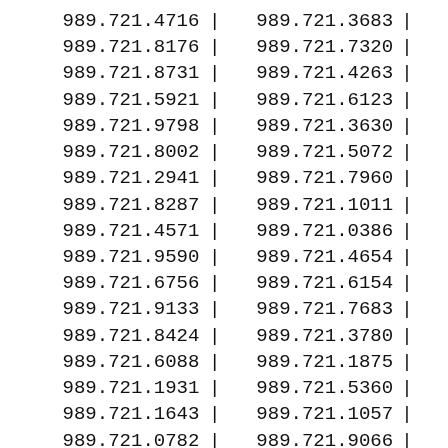| 989.721.4716 | | | 989.721.3683 | | |
| 989.721.8176 | | | 989.721.7320 | | |
| 989.721.8731 | | | 989.721.4263 | | |
| 989.721.5921 | | | 989.721.6123 | | |
| 989.721.9798 | | | 989.721.3630 | | |
| 989.721.8002 | | | 989.721.5072 | | |
| 989.721.2941 | | | 989.721.7960 | | |
| 989.721.8287 | | | 989.721.1011 | | |
| 989.721.4571 | | | 989.721.0386 | | |
| 989.721.9590 | | | 989.721.4654 | | |
| 989.721.6756 | | | 989.721.6154 | | |
| 989.721.9133 | | | 989.721.7683 | | |
| 989.721.8424 | | | 989.721.3780 | | |
| 989.721.6088 | | | 989.721.1875 | | |
| 989.721.1931 | | | 989.721.5360 | | |
| 989.721.1643 | | | 989.721.1057 | | |
| 989.721.0782 | | | 989.721.9066 | | |
| 989.721.0440 | | | 989.721.2303 | | |